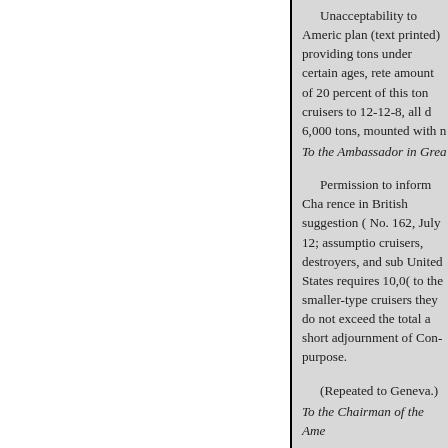Unacceptability to Americ... plan (text printed) providing... tons under certain ages, rete... amount of 20 percent of this... ton cruisers to 12-12-8, all d... 6,000 tons, mounted with n...
To the Ambassador in Grea...
Permission to inform Cha... rence in British suggestion... No. 162, July 12; assumptio... cruisers, destroyers, and sub... United States requires 10,00... to the smaller-type cruisers... they do not exceed the total... a short adjournment of Con... purpose.
(Repeated to Geneva.)
To the Chairman of the Ame...
Reluctance of Ambassador... telegram of July 13 (text pr... directed by Secretary's tele...